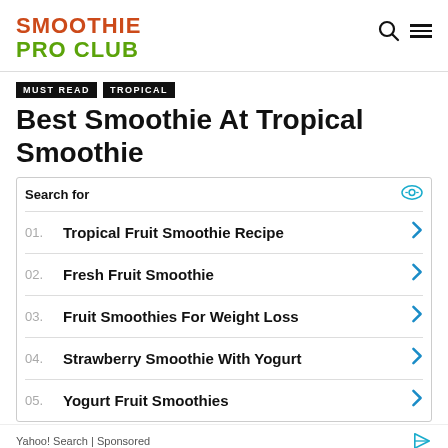SMOOTHIE PRO CLUB
MUST READ  TROPICAL
Best Smoothie At Tropical Smoothie
Search for
01.  Tropical Fruit Smoothie Recipe
02.  Fresh Fruit Smoothie
03.  Fruit Smoothies For Weight Loss
04.  Strawberry Smoothie With Yogurt
05.  Yogurt Fruit Smoothies
Yahoo! Search | Sponsored